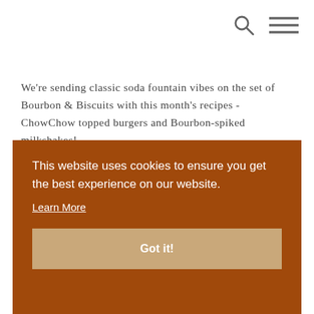[Figure (other): Search icon (magnifying glass) and hamburger menu icon in top right navigation area]
We're sending classic soda fountain vibes on the set of Bourbon & Biscuits with this month's recipes - ChowChow topped burgers and Bourbon-spiked milkshakes!
This website uses cookies to ensure you get the best experience on our website.
Learn More
Got it!